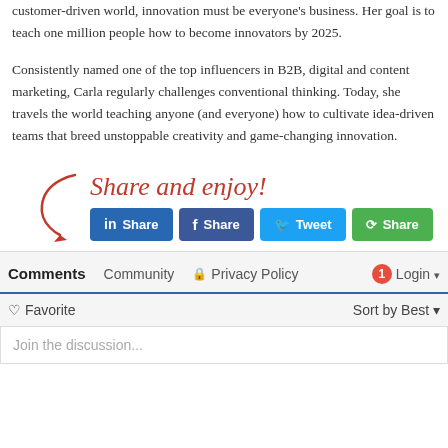customer-driven world, innovation must be everyone's business. Her goal is to teach one million people how to become innovators by 2025.
Consistently named one of the top influencers in B2B, digital and content marketing, Carla regularly challenges conventional thinking. Today, she travels the world teaching anyone (and everyone) how to cultivate idea-driven teams that breed unstoppable creativity and game-changing innovation.
[Figure (infographic): Share and enjoy! text in red handwriting with a red arrow, followed by four social share buttons: LinkedIn Share, Facebook Share, Twitter Tweet, Google+ Share]
Comments Community Privacy Policy Login
Favorite Sort by Best
Join the discussion...